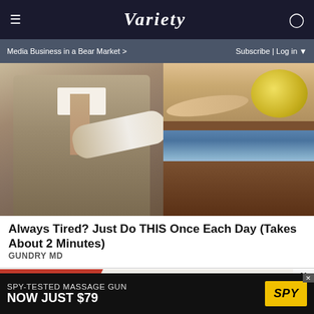≡  VARIETY  👤
Media Business in a Bear Market >   Subscribe | Log in ▼
[Figure (photo): Advertisement photo showing a man in a grey suit on the left side and a cross-section of skin/mattress layers on the right side]
Always Tired? Just Do THIS Once Each Day (Takes About 2 Minutes)
GUNDRY MD
[Figure (photo): Advertisement: partial image of a woman with brown hair on a red and white torn paper background, with X close button]
[Figure (advertisement): Banner ad: SPY-TESTED MASSAGE GUN NOW JUST $79 with SPY logo in yellow]